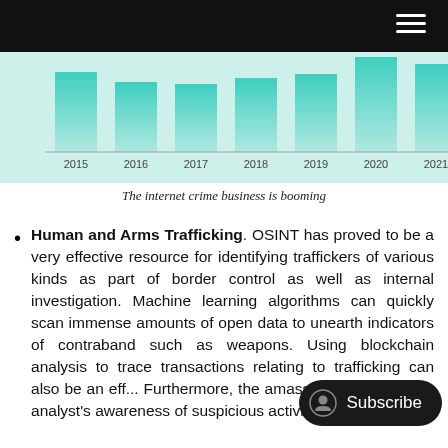[Figure (bar-chart): Internet crime complaints over years]
The internet crime business is booming
Human and Arms Trafficking. OSINT has proved to be a very effective resource for identifying traffickers of various kinds as part of border control as well as internal investigation. Machine learning algorithms can quickly scan immense amounts of open data to unearth indicators of contraband such as weapons. Using blockchain analysis to trace transactions relating to trafficking can also be an eff... Furthermore, the amassing of v... raise an analyst's awareness of suspicious activities or individuals.